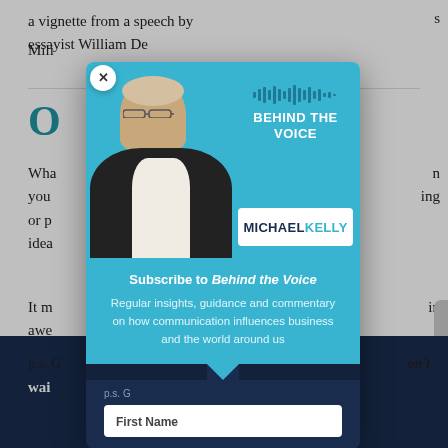a vignette from a speech by essayist William De[…] s Mili[…]
O[…]
Wha[…] you[…] ing or p[…] idea[…]
It m[…] in awe[…] stor[…]
p.s. […] on't wai[…]
[Figure (other): Modal popup for 'Behind the Voice' newsletter by Michael Kelly. Features a photo of Michael Kelly (man in dark suit with glasses), the 'BEHIND THE VOICE' title with soundwave graphic, a 'MICHAEL KELLY' name plate, a subscribe section with description 'Regular insights, guidance and commentary on how communication influences business and the world around us', and a First Name input field on a dark navy background.]
First Name